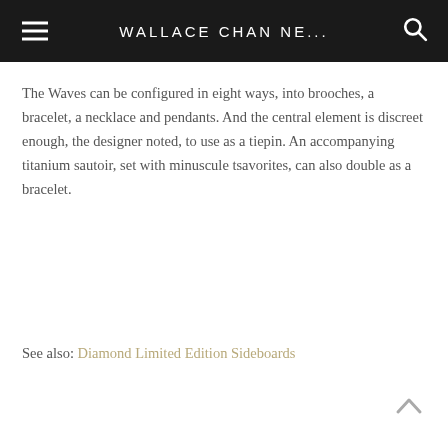WALLACE CHAN NE...
The Waves can be configured in eight ways, into brooches, a bracelet, a necklace and pendants. And the central element is discreet enough, the designer noted, to use as a tiepin. An accompanying titanium sautoir, set with minuscule tsavorites, can also double as a bracelet.
See also: Diamond Limited Edition Sideboards